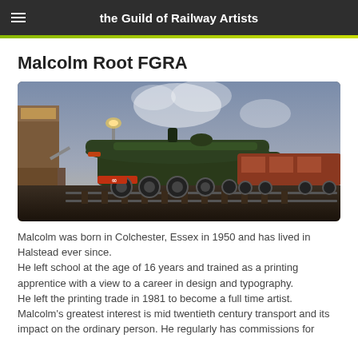the Guild of Railway Artists
Malcolm Root FGRA
[Figure (photo): A painting of a green steam locomotive at a railway station, with a signal box on the left, a gas lamp in the middle, steam rising, and passenger coaches on the right. The scene is lit with warm dusk light.]
Malcolm was born in Colchester, Essex in 1950 and has lived in Halstead ever since.
He left school at the age of 16 years and trained as a printing apprentice with a view to a career in design and typography.
He left the printing trade in 1981 to become a full time artist.
Malcolm's greatest interest is mid twentieth century transport and its impact on the ordinary person. He regularly has commissions for